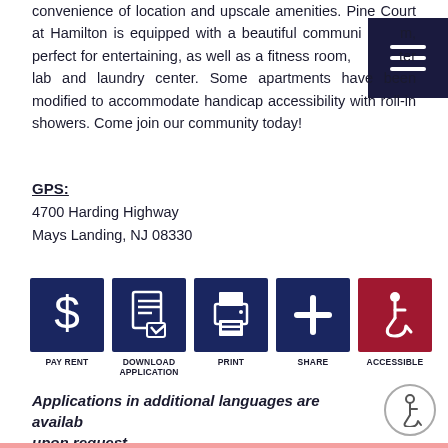convenience of location and upscale amenities. Pine Court at Hamilton is equipped with a beautiful community room, perfect for entertaining, as well as a fitness room, computer lab and laundry center. Some apartments have been modified to accommodate handicap accessibility with roll-in showers. Come join our community today!
GPS:
4700 Harding Highway
Mays Landing, NJ 08330
[Figure (infographic): Five action icons in dark navy boxes: Pay Rent (dollar sign), Download Application (document with checklist), Print (printer), Share (plus sign), Accessible (wheelchair symbol in red box)]
Applications in additional languages are available upon request.